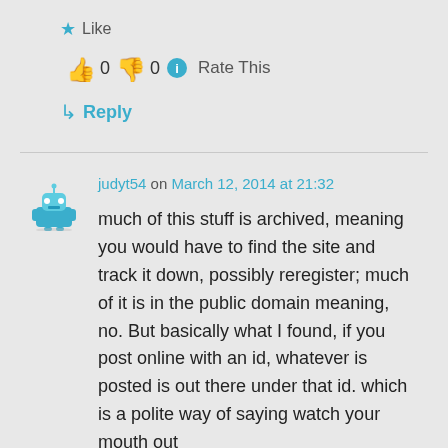★ Like
👍 0 👎 0 ℹ Rate This
↳ Reply
judyt54 on March 12, 2014 at 21:32
much of this stuff is archived, meaning you would have to find the site and track it down, possibly reregister; much of it is in the public domain meaning, no. But basically what I found, if you post online with an id, whatever is posted is out there under that id. which is a polite way of saying watch your mouth out